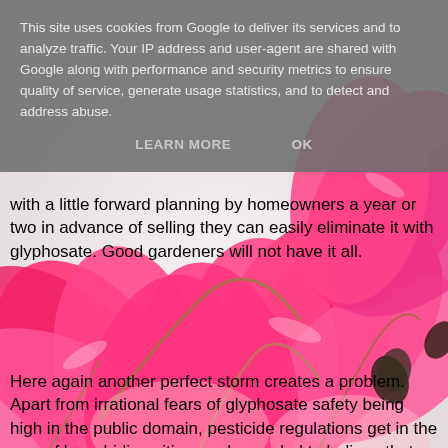[Figure (photo): Background photo of pink cyclamen flowers with distinctive swept-back petals and visible stamens, close-up view]
This site uses cookies from Google to deliver its services and to analyze traffic. Your IP address and user-agent are shared with Google along with performance and security metrics to ensure quality of service, generate usage statistics, and to detect and address abuse.
LEARN MORE   OK
with a little forward planning by homeowners a year or two in advance of selling they can easily eliminate it with glyphosate. Good gardeners will not have it all.
Here again another perfect storm creates a problem. Apart from irrational fears of glyphosate safety being high in the public domain, pesticide regulations get in the way of law abiding citizens who are led to believe that using professional glyphosate is illegal. There is a kind of conspiracy that keeps amateur gardeners and professionals apart. And certainly there are good reasons that the general public should not use particular chemicals.